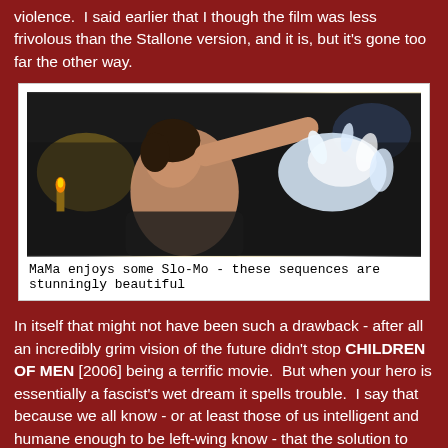violence.  I said earlier that I though the film was less frivolous than the Stallone version, and it is, but it's gone too far the other way.
[Figure (photo): A woman enjoying Slo-Mo drug effects, shown in slow motion with water splashing around her]
MaMa enjoys some Slo-Mo - these sequences are stunningly beautiful
In itself that might not have been such a drawback - after all an incredibly grim vision of the future didn't stop CHILDREN OF MEN [2006] being a terrific movie.  But when your hero is essentially a fascist's wet dream it spells trouble.  I say that because we all know - or at least those of us intelligent and humane enough to be left-wing know - that the solution to none of those problems listed above is 'letting the police kill everything in sight'.  Now I know it's a comic book character, and I know it's an action movie, but with the way things seem to be going at the moment around the world - with human